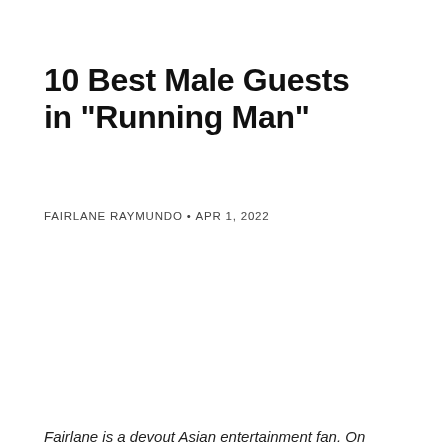10 Best Male Guests in "Running Man"
FAIRLANE RAYMUNDO • APR 1, 2022
Fairlane is a devout Asian entertainment fan. On